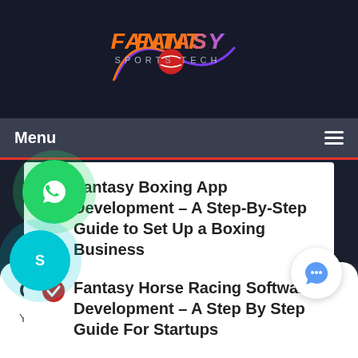[Figure (logo): Fantasy Sports Tech logo with orange and purple text on dark navy background, with a cricket ball graphic]
Menu
Fantasy Boxing App Development – A Step-By-Step Guide to Set Up a Boxing Business
Fantasy Horse Racing Software Development – A Step By Step Guide For Startups
Contact form
Your Name (required)